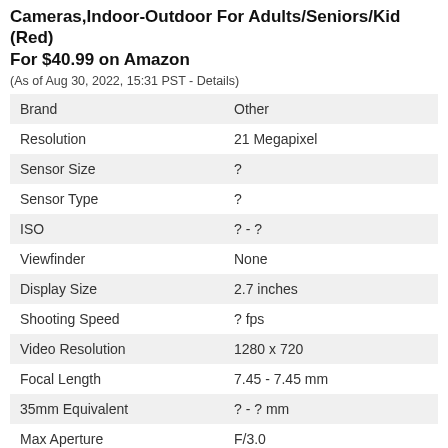Cameras,Indoor-Outdoor For Adults/Seniors/Kid (Red) For $40.99 on Amazon
(As of Aug 30, 2022, 15:31 PST - Details)
| Specification | Value |
| --- | --- |
| Brand | Other |
| Resolution | 21 Megapixel |
| Sensor Size | ? |
| Sensor Type | ? |
| ISO | ? - ? |
| Viewfinder | None |
| Display Size | 2.7 inches |
| Shooting Speed | ? fps |
| Video Resolution | 1280 x 720 |
| Focal Length | 7.45 - 7.45 mm |
| 35mm Equivalent | ? - ? mm |
| Max Aperture | F/3.0 |
| Optical Zoom | 1x |
| Release Date | 2018 |